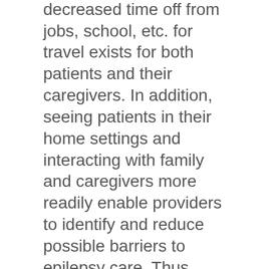economic benefit in decreased time off from jobs, school, etc. for travel exists for both patients and their caregivers. In addition, seeing patients in their home settings and interacting with family and caregivers more readily enable providers to identify and reduce possible barriers to epilepsy care. Thus, both patients and providers benefit, and epilepsy care is improved, when patients are able to participate in telehealth visits from their homes.